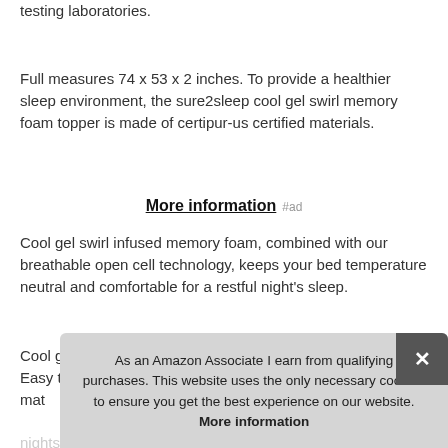testing laboratories.
Full measures 74 x 53 x 2 inches. To provide a healthier sleep environment, the sure2sleep cool gel swirl memory foam topper is made of certipur-us certified materials.
More information #ad
Cool gel swirl infused memory foam, combined with our breathable open cell technology, keeps your bed temperature neutral and comfortable for a restful night's sleep.
Cool gel swirl infused memory foam provides total comfort. Easy to place on top of your mattress and under your mat... coo... to th... pair... are not satisfied within the first 30 nights, contact sure2sleep
As an Amazon Associate I earn from qualifying purchases. This website uses the only necessary cookies to ensure you get the best experience on our website. More information